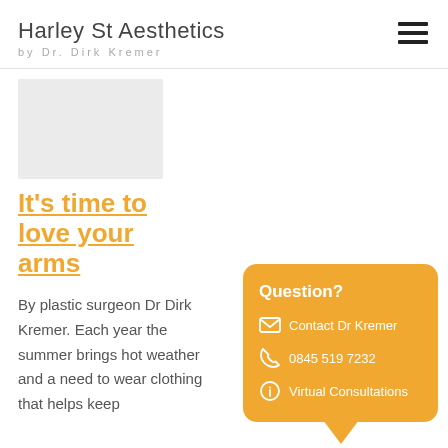Harley St Aesthetics by Dr. Dirk Kremer
[Figure (photo): Partial image placeholder (light gray rectangle)]
It's time to love your arms
By plastic surgeon Dr Dirk Kremer. Each year the summer brings hot weather and a need to wear clothing that helps keep
Question? Contact Dr Kremer | 0845 519 7232 | Virtual Consultations